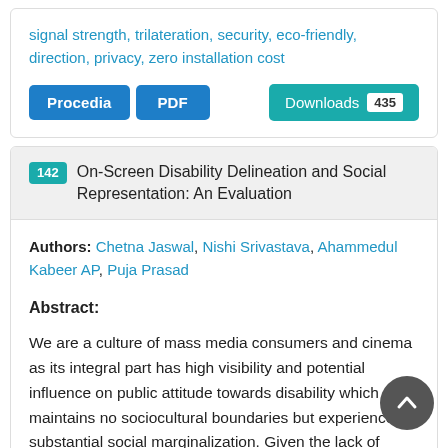signal strength, trilateration, security, eco-friendly, direction, privacy, zero installation cost
Procedia | PDF | Downloads 435
142 On-Screen Disability Delineation and Social Representation: An Evaluation
Authors: Chetna Jaswal, Nishi Srivastava, Ahammedul Kabeer AP, Puja Prasad
Abstract:
We are a culture of mass media consumers and cinema as its integral part has high visibility and potential influence on public attitude towards disability which maintains no sociocultural boundaries but experiences substantial social marginalization. Given the lack of